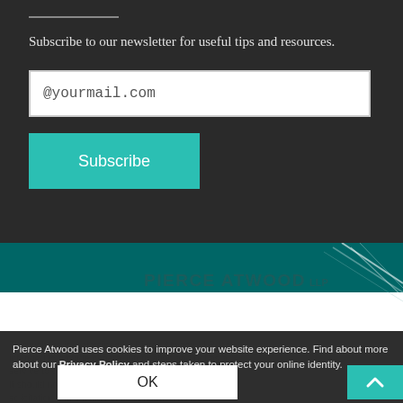Subscribe to our newsletter for useful tips and resources.
[Figure (screenshot): Email input field with placeholder text @yourmail.com]
[Figure (screenshot): Teal Subscribe button]
[Figure (logo): Pierce Atwood LLP logo with diagonal lines graphic on teal and white background]
Pierce Atwood uses cookies to improve your website experience. Find about more about our Privacy Policy and steps taken to protect your online identity.
[Figure (screenshot): OK button (white) and up-arrow button (teal)]
solicitation and should not be construed as legal